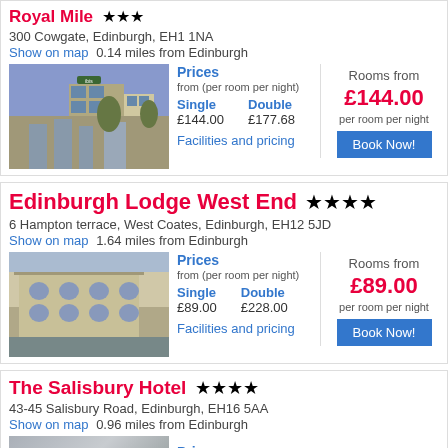Royal Mile ★★★
300 Cowgate, Edinburgh, EH1 1NA
Show on map  0.14 miles from Edinburgh
[Figure (photo): Photo of Royal Mile hotel building exterior]
Prices
from (per room per night)
Single  Double
£144.00  £177.68
Facilities and pricing
Rooms from
£144.00
per room per night
Edinburgh Lodge West End ★★★★
6 Hampton terrace, West Coates, Edinburgh, EH12 5JD
Show on map  1.64 miles from Edinburgh
[Figure (photo): Photo of Edinburgh Lodge West End hotel exterior]
Prices
from (per room per night)
Single  Double
£89.00  £228.00
Facilities and pricing
Rooms from
£89.00
per room per night
The Salisbury Hotel ★★★★
43-45 Salisbury Road, Edinburgh, EH16 5AA
Show on map  0.96 miles from Edinburgh
[Figure (photo): Partial photo of The Salisbury Hotel exterior]
Prices